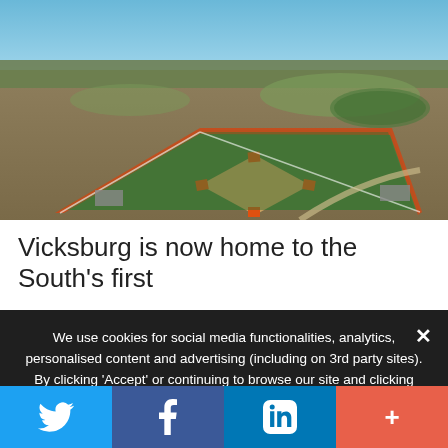[Figure (photo): Aerial drone photograph of a baseball/softball field complex in Vicksburg, with green turf fields, red/orange warning track, surrounding brown fields and trees, blue sky in background.]
Vicksburg is now home to the South's first
We use cookies for social media functionalities, analytics, personalised content and advertising (including on 3rd party sites). By clicking 'Accept' or continuing to browse our site and clicking through, you agree to such use and to the sharing of your data with our partners. To find out more about our use of cookies, our partners or how to withdraw your consent see our Cookie Notice.